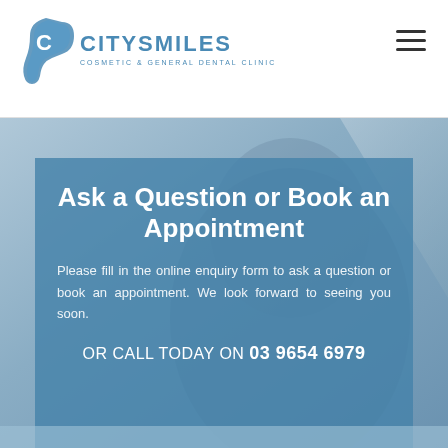[Figure (logo): City Smiles Cosmetic & General Dental Clinic logo with stylized C/tooth icon in blue]
Ask a Question or Book an Appointment
Please fill in the online enquiry form to ask a question or book an appointment. We look forward to seeing you soon.
OR CALL TODAY ON 03 9654 6979